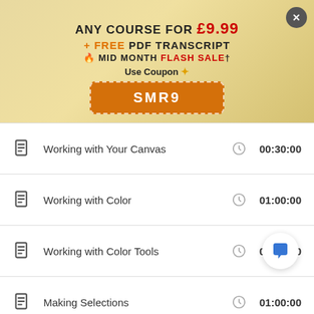[Figure (infographic): Promotional banner with gold gradient background showing course sale offer. Close button (X) top right. Text: ANY COURSE FOR £9.99, + FREE PDF TRANSCRIPT, 🔥 MID MONTH FLASH SALE†, Use Coupon, SMR9 button.]
Working with Your Canvas  00:30:00
Working with Color  01:00:00
Working with Color Tools  00:30:00
Making Selections  01:00:00
Manipulating Selections  00:00
[Figure (illustration): Blue speech bubble chat icon in white circular button, bottom right overlay]